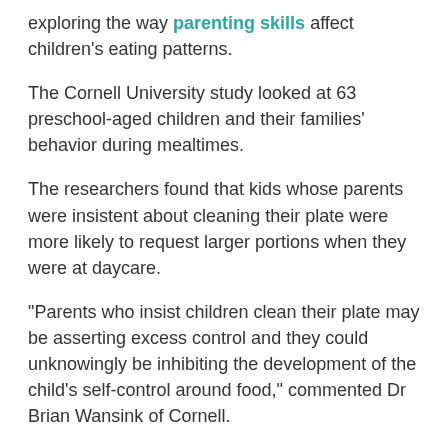…exploring the way parenting skills affect children's eating patterns.
The Cornell University study looked at 63 preschool-aged children and their families' behavior during mealtimes.
The researchers found that kids whose parents were insistent about cleaning their plate were more likely to request larger portions when they were at daycare.
"Parents who insist children clean their plate may be asserting excess control and they could unknowingly be inhibiting the development of the child's self-control around food," commented Dr Brian Wansink of Cornell.
He suggested that moms and dads could aim to prevent this situation by providing moderate portions and letting